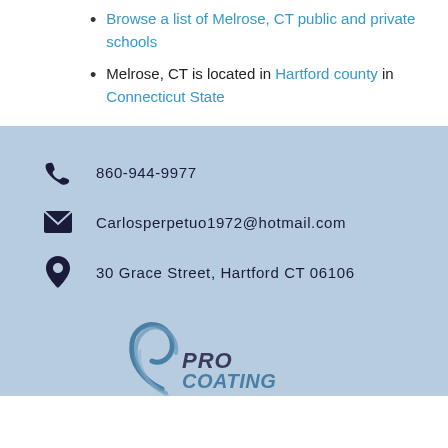Browse a list of Melrose, CT public and private schools
Melrose, CT is located in Hartford county in Connecticut State
860-944-9977
Carlosperpetuo1972@hotmail.com
30 Grace Street, Hartford CT 06106
[Figure (logo): Pro Coating logo with stylized swoosh graphic and italic bold text reading PRO COATING]